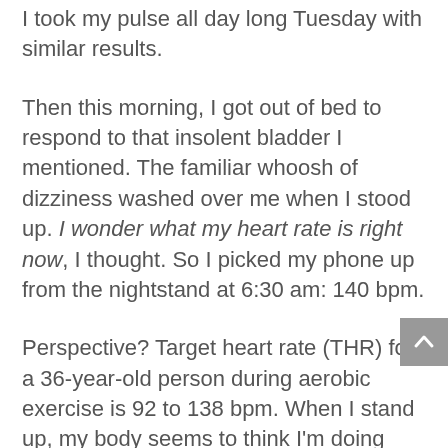I took my pulse all day long Tuesday with similar results.
Then this morning, I got out of bed to respond to that insolent bladder I mentioned. The familiar whoosh of dizziness washed over me when I stood up. I wonder what my heart rate is right now, I thought. So I picked my phone up from the nightstand at 6:30 am: 140 bpm.
Perspective? Target heart rate (THR) for a 36-year-old person during aerobic exercise is 92 to 138 bpm. When I stand up, my body seems to think I'm doing strenuous exercise.
By 6:33 am this morning, I had all the data I needed to diagnose myself, but I kept logging the… [continues]